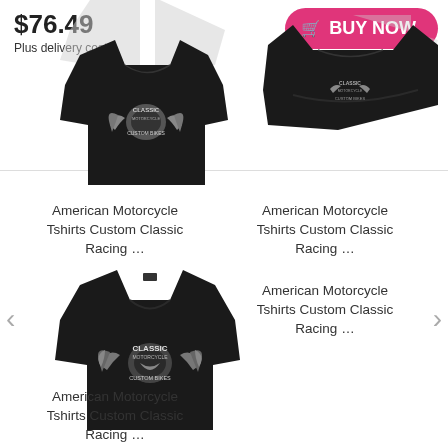$76.49
Plus delivery costs
BUY NOW
[Figure (photo): Black American Motorcycle Tshirts Custom Classic Racing t-shirt with eagle/wings graphic, front view]
American Motorcycle Tshirts Custom Classic Racing …
[Figure (photo): Black American Motorcycle Tshirts Custom Classic Racing t-shirt, folded/side view]
American Motorcycle Tshirts Custom Classic Racing …
American Motorcycle Tshirts Custom Classic Racing …
[Figure (photo): Black American Motorcycle Tshirts Custom Classic Racing t-shirt with eagle/wings graphic, front view, larger]
American Motorcycle Tshirts Custom Classic Racing …